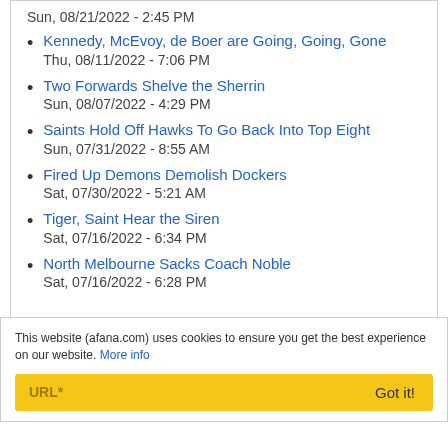Sun, 08/21/2022 - 2:45 PM
Kennedy, McEvoy, de Boer are Going, Going, Gone
Thu, 08/11/2022 - 7:06 PM
Two Forwards Shelve the Sherrin
Sun, 08/07/2022 - 4:29 PM
Saints Hold Off Hawks To Go Back Into Top Eight
Sun, 07/31/2022 - 8:55 AM
Fired Up Demons Demolish Dockers
Sat, 07/30/2022 - 5:21 AM
Tiger, Saint Hear the Siren
Sat, 07/16/2022 - 6:34 PM
North Melbourne Sacks Coach Noble
Sat, 07/16/2022 - 6:28 PM
This website (afana.com) uses cookies to ensure you get the best experience on our website. More info
URL* Got it!